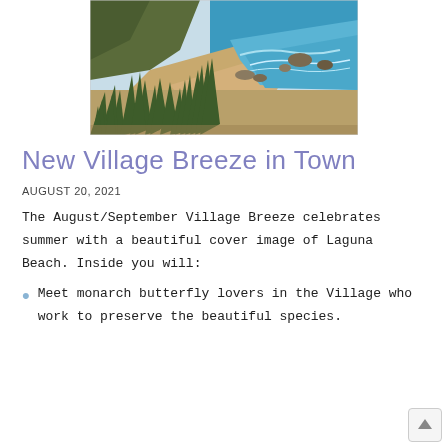[Figure (photo): Aerial/elevated view of a coastal beach scene with turquoise water, rocky shoreline, sandy beach, and agave plants in the foreground, likely Laguna Beach.]
New Village Breeze in Town
AUGUST 20, 2021
The August/September Village Breeze celebrates summer with a beautiful cover image of Laguna Beach. Inside you will:
Meet monarch butterfly lovers in the Village who work to preserve the beautiful species.